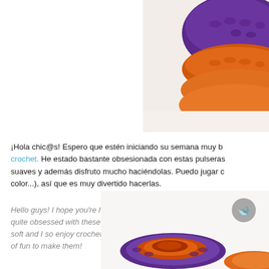[Figure (photo): Close-up photo of crocheted stackable bracelets in purple and orange colors, top right corner]
¡Hola chic@s! Espero que estén iniciando su semana muy b... crochet. He estado bastante obsesionada con estas pulseras... suaves y además disfruto mucho haciéndolas. Puedo jugar c... color...), así que es muy divertido hacerlas.
Hello guys! I hope you're having a great week start. Today ... quite obsessed with these stackable bracelets. What do yo... soft and I so enjoy crocheting them, I can play with colors... of fun to make them!
[Figure (photo): Photo of crocheted stackable bracelets in purple and orange at the bottom right, showing ring-shaped bracelets from above]